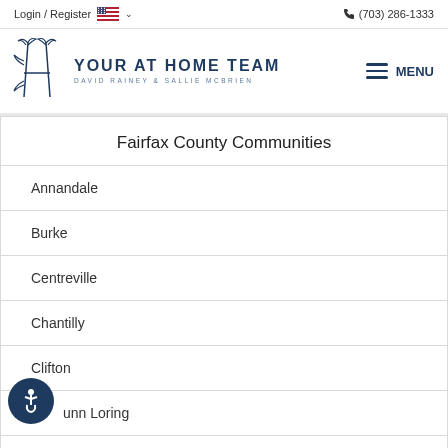Login / Register   (703) 286-1333
[Figure (logo): Your At Home Team logo with stylized H and text 'YOUR AT HOME TEAM / DAVID RAINEY & SALLIE MCBRIEN']
Fairfax County Communities
Annandale
Burke
Centreville
Chantilly
Clifton
Dunn Loring
Fairfax